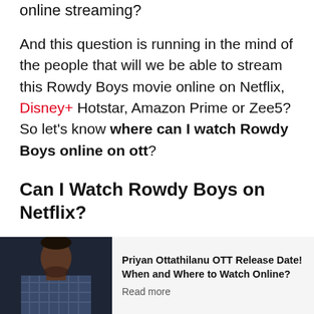online streaming?
And this question is running in the mind of the people that will we be able to stream this Rowdy Boys movie online on Netflix, Disney+ Hotstar, Amazon Prime or Zee5? So let's know where can I watch Rowdy Boys online on ott?
Can I Watch Rowdy Boys on Netflix?
Friends Netflix is known as the world's streaming giant. But let me tell you that this Rowdy Boys is not available for online streaming on Netflix. But
[Figure (photo): Photo of a man in a checked shirt]
Priyan Ottathilanu OTT Release Date! When and Where to Watch Online?
Read more